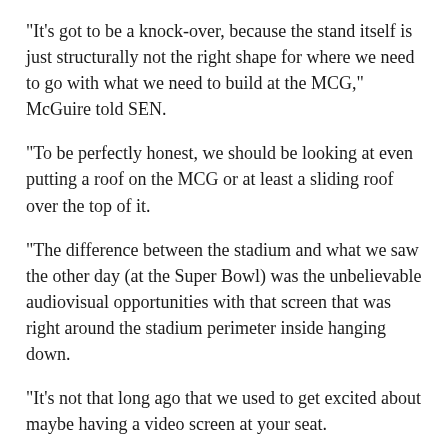“It’s got to be a knock-over, because the stand itself is just structurally not the right shape for where we need to go with what we need to build at the MCG,” McGuire told SEN.
“To be perfectly honest, we should be looking at even putting a roof on the MCG or at least a sliding roof over the top of it.
“The difference between the stadium and what we saw the other day (at the Super Bowl) was the unbelievable audiovisual opportunities with that screen that was right around the stadium perimeter inside hanging down.
“It’s not that long ago that we used to get excited about maybe having a video screen at your seat.
“It has to be a better experience than what you have at